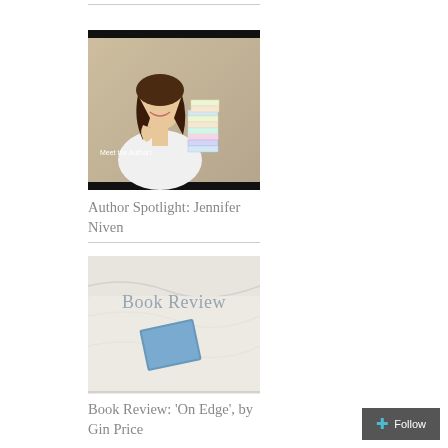[Figure (photo): Author photo of Jennifer Niven at a book signing event, sitting behind a table with stacks of books, smiling at camera]
Author Spotlight: Jennifer Niven
[Figure (photo): Book review image showing a blue book resting on white fabric/sheets with 'Book Review' text overlay]
Book Review: 'On Edge', by Gin Price